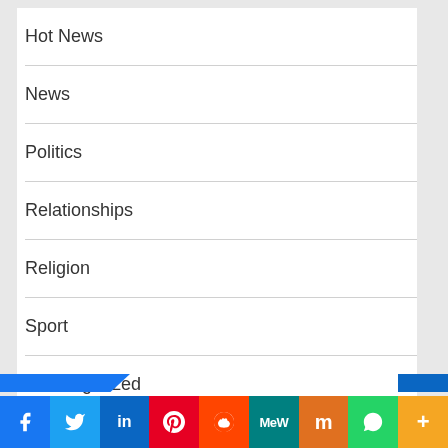Hot News
News
Politics
Relationships
Religion
Sport
Uncategorized
[Figure (screenshot): Social media share bar at bottom with icons for Facebook, Twitter, LinkedIn, Pinterest, Reddit, MeWe, Mix, WhatsApp, and More]